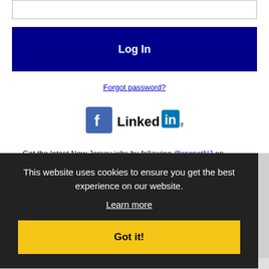[Figure (screenshot): Input text field (password box)]
Log In
Forgot password?
[Figure (logo): Facebook logo icon and LinkedIn logo]
Get the latest New Jersey jobs by following @recnetNJ on Twitter!
This website uses cookies to ensure you get the best experience on our website.
Learn more
Got it!